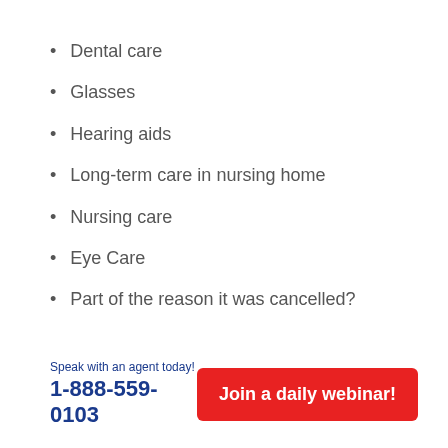Dental care
Glasses
Hearing aids
Long-term care in nursing home
Nursing care
Eye Care
Part of the reason it was cancelled?
Speak with an agent today!
1-888-559-0103
Join a daily webinar!